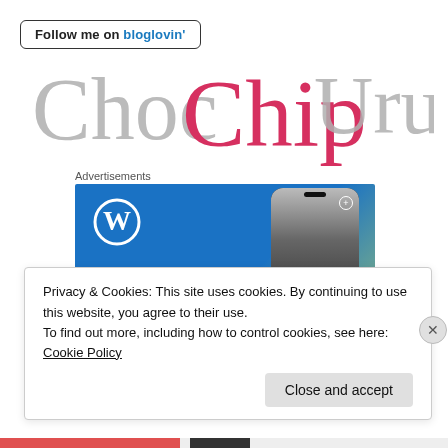[Figure (logo): Follow me on bloglovin' button with border and blue text]
Choc Chip Uru
Advertisements
[Figure (screenshot): WordPress advertisement banner showing logo, Create text, and phone with VISITING SKOGAFOSS image]
Privacy & Cookies: This site uses cookies. By continuing to use this website, you agree to their use.
To find out more, including how to control cookies, see here:
Cookie Policy
Close and accept